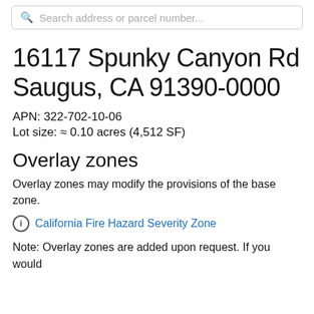Search address or parcel number...
16117 Spunky Canyon Rd Saugus, CA 91390-0000
APN: 322-702-10-06
Lot size: ≈ 0.10 acres (4,512 SF)
Overlay zones
Overlay zones may modify the provisions of the base zone.
ⓘ California Fire Hazard Severity Zone
Note: Overlay zones are added upon request. If you would